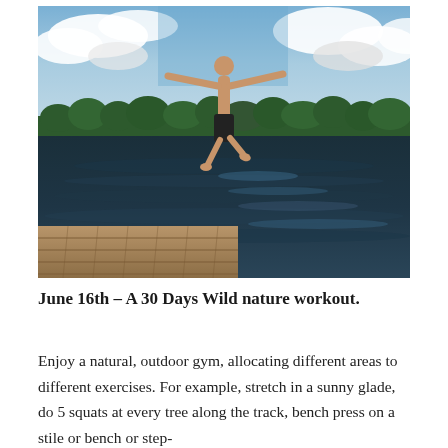[Figure (photo): A shirtless person jumping off a wooden dock into a lake, arms outstretched, with a forested shoreline and cloudy sky in the background.]
June 16th – A 30 Days Wild nature workout.
Enjoy a natural, outdoor gym, allocating different areas to different exercises. For example, stretch in a sunny glade, do 5 squats at every tree along the track, bench press on a stile or bench or step-